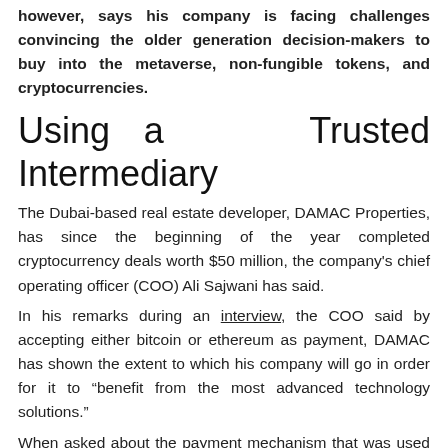however, says his company is facing challenges convincing the older generation decision-makers to buy into the metaverse, non-fungible tokens, and cryptocurrencies.
Using a Trusted Intermediary
The Dubai-based real estate developer, DAMAC Properties, has since the beginning of the year completed cryptocurrency deals worth $50 million, the company's chief operating officer (COO) Ali Sajwani has said.
In his remarks during an interview, the COO said by accepting either bitcoin or ethereum as payment, DAMAC has shown the extent to which his company will go in order for it to “benefit from the most advanced technology solutions.”
When asked about the payment mechanism that was used to conclude the real estate deals, the COO said a